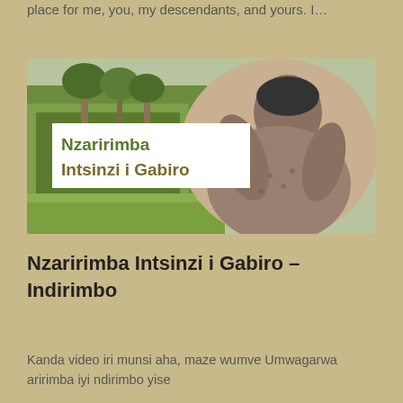place for me, you, my descendants, and yours. I…
[Figure (photo): Photo of a woman looking upward in a sepia/vintage style, overlaid on a lush green forest background. A white text box overlay reads 'Nzaririmba Intsinzi i Gabiro'.]
Nzaririmba Intsinzi i Gabiro – Indirimbo
Kanda video iri munsi aha, maze wumve Umwagarwa aririmba iyi ndirimbo yise